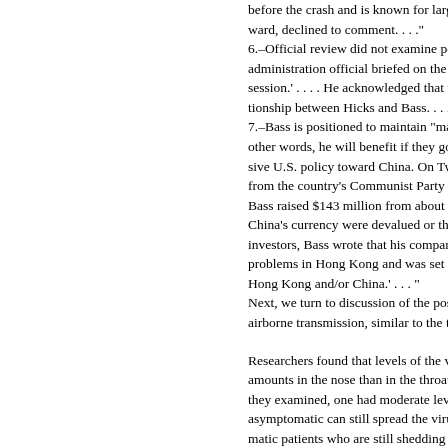before the crash and is known for large b ward, declined to comment. . . ."
6.–Official review did not examine possib administration official briefed on the Bass session.' . . . . He acknowledged that the tionship between Hicks and Bass. . . ."
7.–Bass is positioned to maintain "massi other words, he will benefit if they go dow sive U.S. policy toward China. On Twitter from the country's Communist Party gove Bass raised $143 million from about 81 i China's currency were devalued or the c investors, Bass wrote that his company, problems in Hong Kong and was set up t Hong Kong and/or China.' . . . "
Next, we turn to discussion of the possib airborne transmission, similar to the tran

Researchers found that levels of the viru amounts in the nose than in the throats– they examined, one had moderate levels asymptomatic can still spread the virus. matic patients who are still shedding the

This sudden anomalous (for SARS-like c